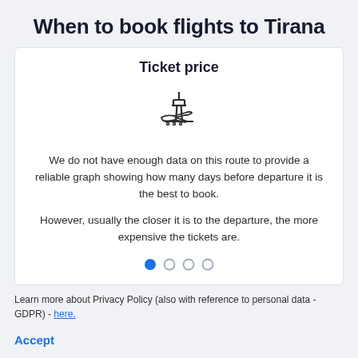When to book flights to Tirana
Ticket price
[Figure (illustration): Airport control tower with airplane icon]
We do not have enough data on this route to provide a reliable graph showing how many days before departure it is the best to book.
However, usually the closer it is to the departure, the more expensive the tickets are.
[Figure (other): Pagination dots: one filled blue circle followed by three empty circles]
Learn more about Privacy Policy (also with reference to personal data - GDPR) - here.
Accept